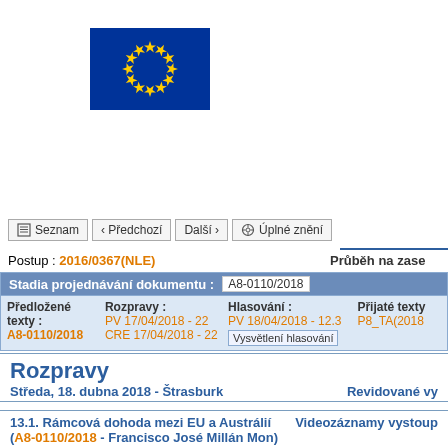[Figure (logo): European Union flag — blue rectangle with circle of 12 yellow stars]
Seznam  Předchozí  Další  Úplné znění
Postup : 2016/0367(NLE)  Průběh na zase
| Stadia projednávání dokumentu : | A8-0110/2018 |
| --- | --- |
| Předložené texty : | Rozpravy : | Hlasování : | Přijaté texty |
| A8-0110/2018 | PV 17/04/2018 - 22
CRE 17/04/2018 - 22 | PV 18/04/2018 - 12.3
Vysvětlení hlasování | P8_TA(2018 |
Rozpravy
Středa, 18. dubna 2018 - Štrasburk    Revidované vy
13.1. Rámcová dohoda mezi EU a Austrálií (A8-0110/2018 - Francisco José Millán Mon)    Videozáznamy vystoup
Mündliche Erklärungen zur Abstimmung